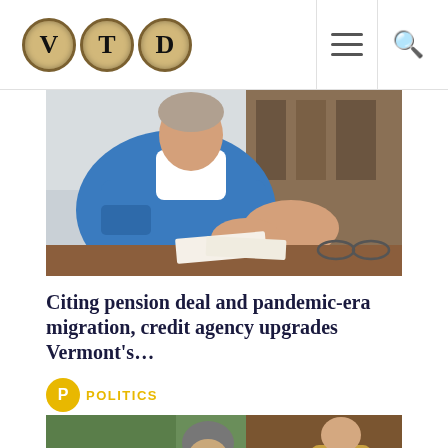VTD - Vermont Digger
[Figure (photo): Person in blue jacket sitting at a table with hands clasped, glasses and papers on table]
Citing pension deal and pandemic-era migration, credit agency upgrades Vermont's…
POLITICS
[Figure (photo): People at what appears to be a government or voting office; person in grey coat and knit hat reading a document, another person in background]